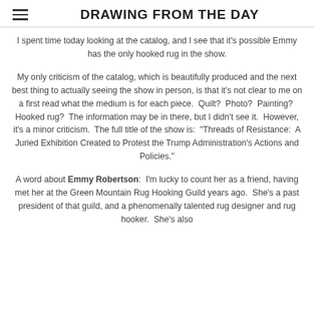DRAWING FROM THE DAY
I spent time today looking at the catalog, and I see that it's possible Emmy has the only hooked rug in the show.
My only criticism of the catalog, which is beautifully produced and the next best thing to actually seeing the show in person, is that it's not clear to me on a first read what the medium is for each piece.  Quilt?  Photo?  Painting?  Hooked rug?  The information may be in there, but I didn't see it.  However, it's a minor criticism.  The full title of the show is:  "Threads of Resistance:  A Juried Exhibition Created to Protest the Trump Administration's Actions and Policies."
A word about Emmy Robertson:  I'm lucky to count her as a friend, having met her at the Green Mountain Rug Hooking Guild years ago.  She's a past president of that guild, and a phenomenally talented rug designer and rug hooker.  She's also